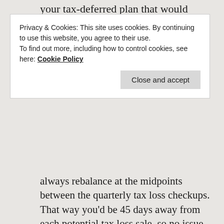your tax-deferred plan that would invalidate a
Privacy & Cookies: This site uses cookies. By continuing to use this website, you agree to their use.
To find out more, including how to control cookies, see here: Cookie Policy
Close and accept
always rebalance at the midpoints between the quarterly tax loss checkups. That way you’d be 45 days away from each potential tax loss sale, so no issue with wash sales. Or do the rebalance on the quarterly tax loss checkups, but be mindful and not buy anything that was sold for a loss that day.
For regular contributions into taxable accounts, be cognizant about the upcoming rebalancing and tax loss harvesting. If some of your current holdings are close to or at a taxable short-term loss, stop reinvesting fresh money into those funds and invest in other (not substantially